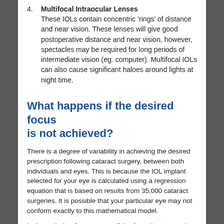4. Multifocal Intraocular Lenses
These IOLs contain concentric ‘rings’ of distance and near vision.  These lenses will give good postoperative distance and near vision, however, spectacles may be required for long periods of intermediate vision (eg. computer).  Multifocal IOLs can also cause significant haloes around lights at night time.
What happens if the desired focus is not achieved?
There is a degree of variability in achieving the desired prescription following cataract surgery, between both individuals and eyes.  This is because the IOL implant selected for your eye is calculated using a regression equation that is based on results from 35,000 cataract surgeries.  It is possible that your particular eye may not conform exactly to this mathematical model.
In the majority of cases, even if the focus is not exactly as